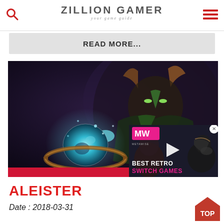ZILLION GAMER your game guide
READ MORE...
[Figure (screenshot): Game artwork showing a horned fantasy character with glowing orb, overlaid with a video ad for BEST RETRO SWITCH GAMES from MetaWise]
ALEISTER
Date : 2018-03-31